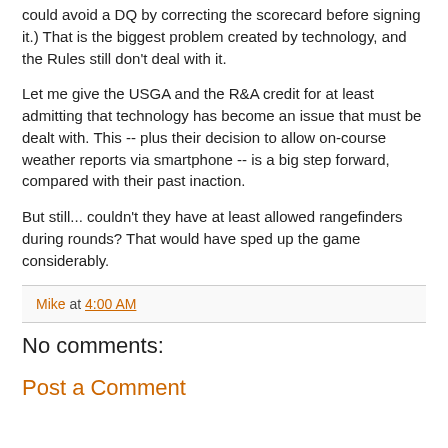could avoid a DQ by correcting the scorecard before signing it.) That is the biggest problem created by technology, and the Rules still don't deal with it.
Let me give the USGA and the R&A credit for at least admitting that technology has become an issue that must be dealt with. This -- plus their decision to allow on-course weather reports via smartphone -- is a big step forward, compared with their past inaction.
But still... couldn't they have at least allowed rangefinders during rounds? That would have sped up the game considerably.
Mike at 4:00 AM
No comments:
Post a Comment